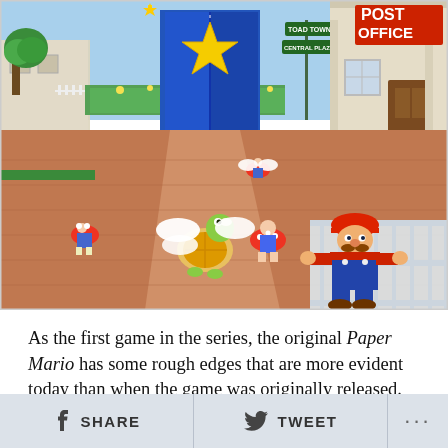[Figure (screenshot): Screenshot of Paper Mario video game showing a town square with a blue star-decorated door, Post Office building on the right, trees, and several paper-style game characters including Mario, Toad characters, and a Koopa Paratroopa on a brick plaza.]
As the first game in the series, the original Paper Mario has some rough edges that are more evident today than when the game was originally released. Occasionally unappealing sprite work, a merely good story, and
SHARE   TWEET   ...